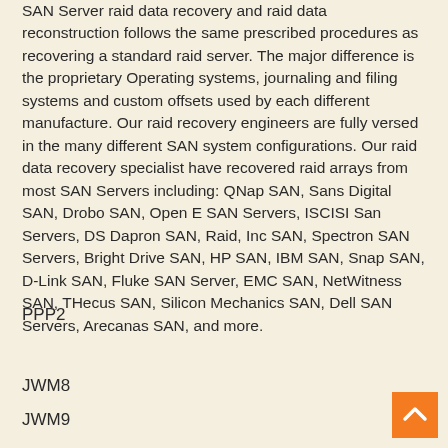SAN Server raid data recovery and raid data reconstruction follows the same prescribed procedures as recovering a standard raid server. The major difference is the proprietary Operating systems, journaling and filing systems and custom offsets used by each different manufacture. Our raid recovery engineers are fully versed in the many different SAN system configurations. Our raid data recovery specialist have recovered raid arrays from most SAN Servers including: QNap SAN, Sans Digital SAN, Drobo SAN, Open E SAN Servers, ISCISI San Servers, DS Dapron SAN, Raid, Inc SAN, Spectron SAN Servers, Bright Drive SAN, HP SAN, IBM SAN, Snap SAN, D-Link SAN, Fluke SAN Server, EMC SAN, NetWitness SAN, THecus SAN, Silicon Mechanics SAN, Dell SAN Servers, Arecanas SAN, and more.
PPP2
JWM8
JWM9